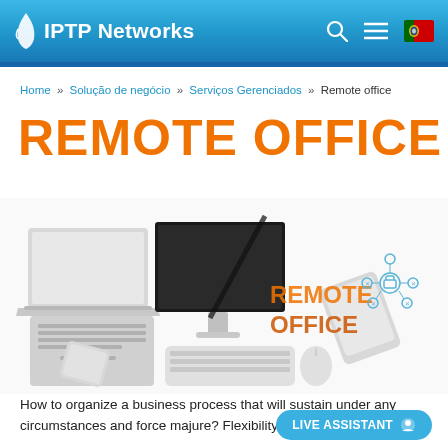IPTP Networks
Home » Solução de negócio » Serviços Gerenciados » Remote office
REMOTE OFFICE
[Figure (illustration): Hero image showing a laptop, desktop computer, keyboard, mouse, smartphone and tablet arranged on a white surface with 'REMOTE OFFICE' text overlay in orange, and a network connectivity icon on the right side.]
How to organize a business process that will sustain under any circumstances and force majure? Flexibility is a must